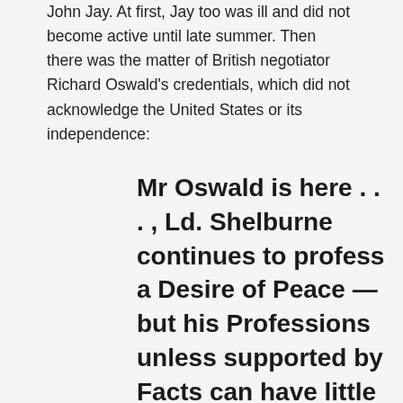John Jay. At first, Jay too was ill and did not become active until late summer. Then there was the matter of British negotiator Richard Oswald's credentials, which did not acknowledge the United States or its independence:
Mr Oswald is here . . . , Ld. Shelburne continues to profess a Desire of Peace —but his Professions unless supported by Facts can have little Credit with us. He says that our